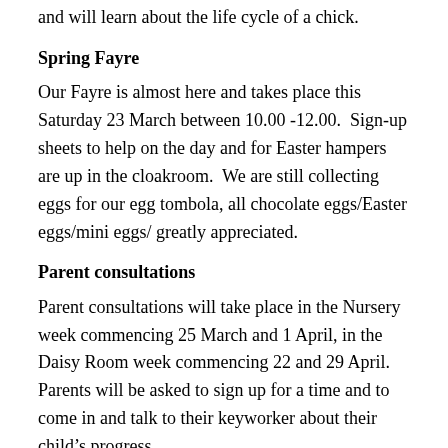and will learn about the life cycle of a chick.
Spring Fayre
Our Fayre is almost here and takes place this Saturday 23 March between 10.00 -12.00.  Sign-up sheets to help on the day and for Easter hampers are up in the cloakroom.  We are still collecting eggs for our egg tombola, all chocolate eggs/Easter eggs/mini eggs/ greatly appreciated.
Parent consultations
Parent consultations will take place in the Nursery week commencing 25 March and 1 April, in the Daisy Room week commencing 22 and 29 April.  Parents will be asked to sign up for a time and to come in and talk to their keyworker about their child's progress.
EExAT
If your child started Nursery in January their Learning Journey